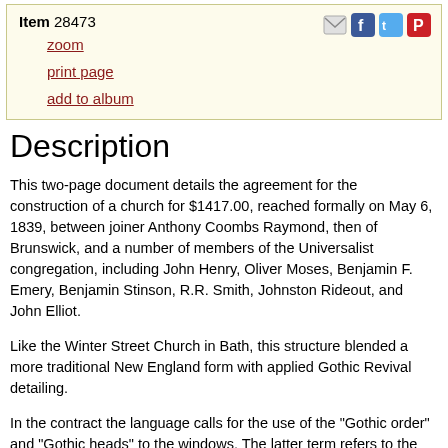Item 28473
zoom
print page
add to album
Description
This two-page document details the agreement for the construction of a church for $1417.00, reached formally on May 6, 1839, between joiner Anthony Coombs Raymond, then of Brunswick, and a number of members of the Universalist congregation, including John Henry, Oliver Moses, Benjamin F. Emery, Benjamin Stinson, R.R. Smith, Johnston Rideout, and John Elliot.
Like the Winter Street Church in Bath, this structure blended a more traditional New England form with applied Gothic Revival detailing.
In the contract the language calls for the use of the "Gothic order" and "Gothic heads" to the windows. The latter term refers to the use of the lancet or pointed arch in the shape of decorative lintels